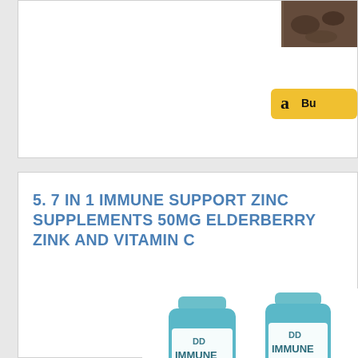[Figure (photo): Partial view of a dark-toned product image (rocky/earthen background) at top right of first card]
[Figure (screenshot): Amazon 'Buy' button in yellow/gold color, partially cropped at right edge]
5. 7 IN 1 IMMUNE SUPPORT ZINC SUPPLEMENTS 50MG ELDERBERRY ZINK AND VITAMIN C
[Figure (photo): Two teal-colored supplement bottles labeled 'IMMUNE DEFENSE - 7 IN 1 IMMUNE PURPOSE' with colorful ingredient labels and fruits/flowers decorative elements at base]
7 Potent Immunity Ingredients – Dako has formulated the first Potent Immu